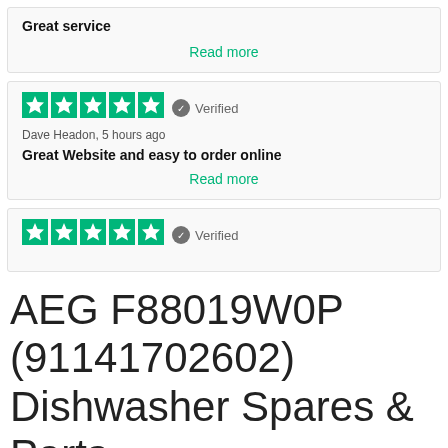Great service
Read more
Verified
Dave Headon, 5 hours ago
Great Website and easy to order online
Read more
Verified
AEG F88019W0P (91141702602) Dishwasher Spares & Parts